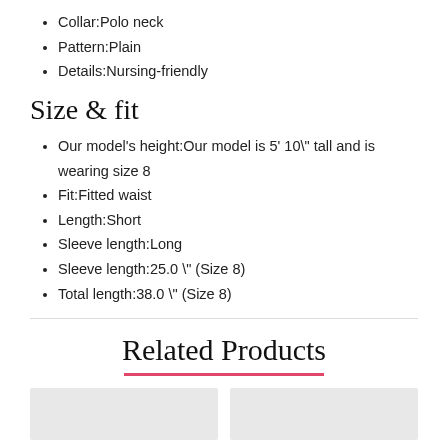Collar:Polo neck
Pattern:Plain
Details:Nursing-friendly
Size & fit
Our model's height:Our model is 5' 10\" tall and is wearing size 8
Fit:Fitted waist
Length:Short
Sleeve length:Long
Sleeve length:25.0 \" (Size 8)
Total length:38.0 \" (Size 8)
Related Products
[Figure (photo): Two product image placeholders shown as grey boxes at the bottom of the page]